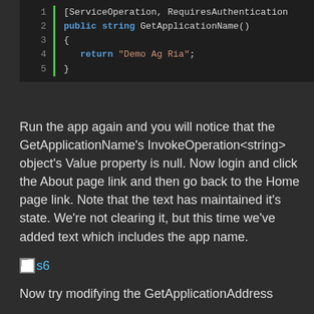[Figure (screenshot): Code block with line numbers 1-5 showing a C# ServiceOperation method GetApplicationName() returning 'Demo Ag Ria']
Run the app again and you will notice that the GetApplicationName's InvokeOperation<string> object's Value property is null. Now login and click the About page link and then go back to the Home page link. Note that the text has maintained it's state. We're not clearing it, but this time we've added text which includes the app name.
[Figure (screenshot): Broken image placeholder labeled 's6']
Now try modifying the GetApplicationAddress